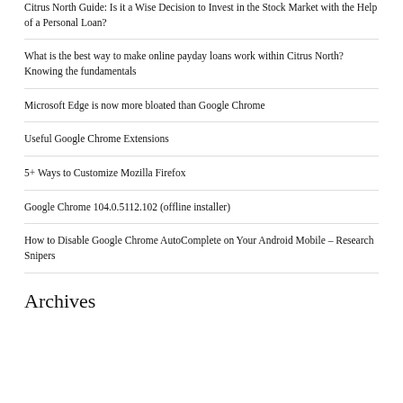Citrus North Guide: Is it a Wise Decision to Invest in the Stock Market with the Help of a Personal Loan?
What is the best way to make online payday loans work within Citrus North? Knowing the fundamentals
Microsoft Edge is now more bloated than Google Chrome
Useful Google Chrome Extensions
5+ Ways to Customize Mozilla Firefox
Google Chrome 104.0.5112.102 (offline installer)
How to Disable Google Chrome AutoComplete on Your Android Mobile – Research Snipers
Archives